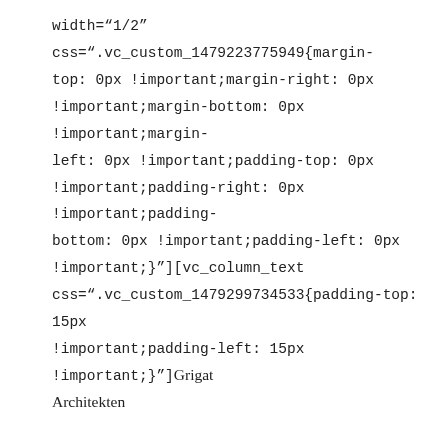width="1/2" css=".vc_custom_1479223775949{margin-top: 0px !important;margin-right: 0px !important;margin-bottom: 0px !important;margin-left: 0px !important;padding-top: 0px !important;padding-right: 0px !important;padding-bottom: 0px !important;padding-left: 0px !important;}"][vc_column_text css=".vc_custom_1479299734533{padding-top: 15px !important;padding-left: 15px !important;}"]Grigat Architekten

Lauenhäger Str. 5

31655 Stadthagen


Telefon: 057216250

Telefax: 0572174753

E-mail: info@grigat-architekten.net[/vc_column_text]